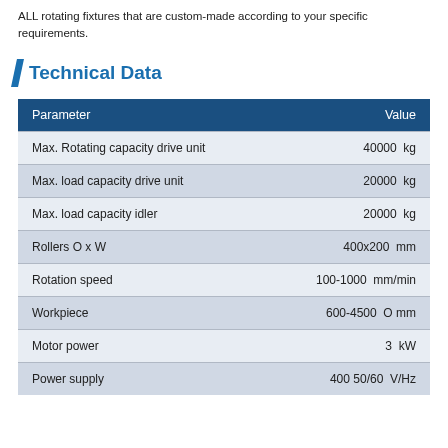ALL rotating fixtures that are custom-made according to your specific requirements.
Technical Data
| Parameter | Value |
| --- | --- |
| Max. Rotating capacity drive unit | 40000  kg |
| Max. load capacity drive unit | 20000  kg |
| Max. load capacity idler | 20000  kg |
| Rollers O x W | 400x200  mm |
| Rotation speed | 100-1000  mm/min |
| Workpiece | 600-4500  O mm |
| Motor power | 3  kW |
| Power supply | 400 50/60  V/Hz |